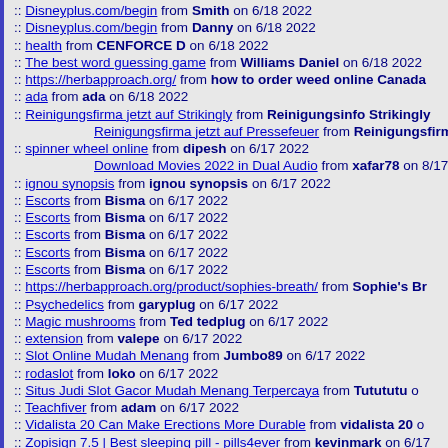:: Disneyplus.com/begin from Smith on 6/18 2022
:: Disneyplus.com/begin from Danny on 6/18 2022
:: health from CENFORCE D on 6/18 2022
:: The best word guessing game from Williams Daniel on 6/18 2022
:: https://herbapproach.org/ from how to order weed online Canada
:: ada from ada on 6/18 2022
:: Reinigungsfirma jetzt auf Strikingly from Reinigungsinfo Strikingly
Reinigungsfirma jetzt auf Pressefeuer from Reinigungsfirma d
:: spinner wheel online from dipesh on 6/17 2022
Download Movies 2022 in Dual Audio from xafar78 on 8/17 20
:: ignou synopsis from ignou synopsis on 6/17 2022
:: Escorts from Bisma on 6/17 2022
:: Escorts from Bisma on 6/17 2022
:: Escorts from Bisma on 6/17 2022
:: Escorts from Bisma on 6/17 2022
:: Escorts from Bisma on 6/17 2022
:: https://herbapproach.org/product/sophies-breath/ from Sophie's Br
:: Psychedelics from garyplug on 6/17 2022
:: Magic mushrooms from Ted tedplug on 6/17 2022
:: extension from valepe on 6/17 2022
:: Slot Online Mudah Menang from Jumbo89 on 6/17 2022
:: rodaslot from loko on 6/17 2022
:: Situs Judi Slot Gacor Mudah Menang Terpercaya from Tutututu on
:: Teachfiver from adam on 6/17 2022
:: Vidalista 20 Can Make Erections More Durable from vidalista 20 o
:: Zopisign 7.5 | Best sleeping pill - pills4ever from kevinmark on 6/17
:: Indore Escort from Indore Escort on 6/17 2022
:: Best Muscle Relaxant Drug - Pain-O-Soma 350mg from Alex Howa
:: Agartala Escort from Agartala Escort on 6/17 2022
:: WAJI from iUKO on 6/17 2022